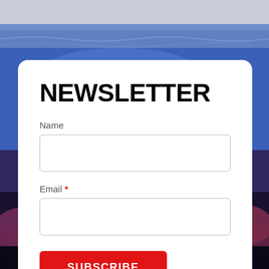[Figure (photo): Underwater ocean background with blue water and coral reef visible at top and bottom edges]
NEWSLETTER
Name
Email *
SUBSCRIBE